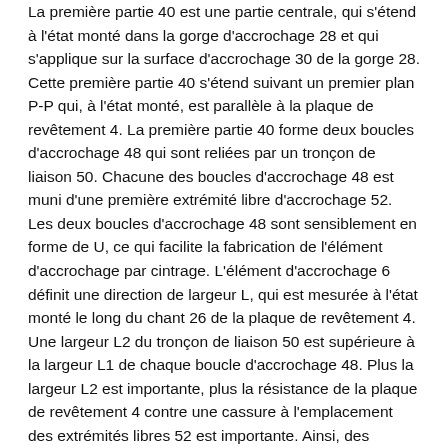La première partie 40 est une partie centrale, qui s'étend à l'état monté dans la gorge d'accrochage 28 et qui s'applique sur la surface d'accrochage 30 de la gorge 28. Cette première partie 40 s'étend suivant un premier plan P-P qui, à l'état monté, est parallèle à la plaque de revêtement 4. La première partie 40 forme deux boucles d'accrochage 48 qui sont reliées par un tronçon de liaison 50. Chacune des boucles d'accrochage 48 est muni d'une première extrémité libre d'accrochage 52. Les deux boucles d'accrochage 48 sont sensiblement en forme de U, ce qui facilite la fabrication de l'élément d'accrochage par cintrage. L'élément d'accrochage 6 définit une direction de largeur L, qui est mesurée à l'état monté le long du chant 26 de la plaque de revêtement 4. Une largeur L2 du tronçon de liaison 50 est supérieure à la largeur L1 de chaque boucle d'accrochage 48. Plus la largeur L2 est importante, plus la résistance de la plaque de revêtement 4 contre une cassure à l'emplacement des extrémités libres 52 est importante. Ainsi, des plaques de revêtement 4 fragiles peuvent être utilisées. Comme indiqué sur la Figure 2, le tronçon de liaison 50 est décalé d'une distance D des deuxièmes parties 42 dans le sens dirigé vers les premières extrémités libres d'accrochage 52, ce qui